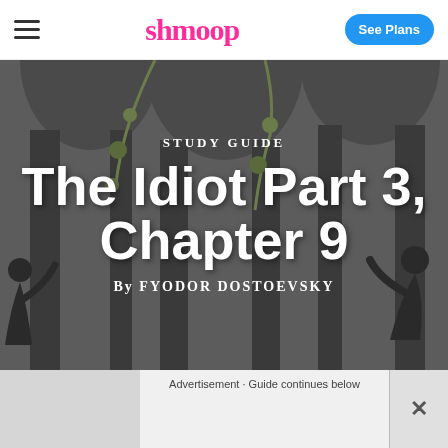shmoop
Study Guide
The Idiot Part 3, Chapter 9
By Fyodor Dostoevsky
Advertisement · Guide continues below